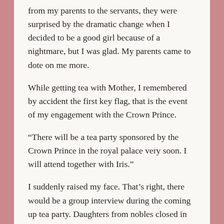from my parents to the servants, they were surprised by the dramatic change when I decided to be a good girl because of a nightmare, but I was glad. My parents came to dote on me more.
While getting tea with Mother, I remembered by accident the first key flag, that is the event of my engagement with the Crown Prince.
“There will be a tea party sponsored by the Crown Prince in the royal palace very soon. I will attend together with Iris.”
I suddenly raised my face. That’s right, there would be a group interview during the coming up tea party. Daughters from nobles closed in age with the Crown Prince are gathered, and the candidate who was closer to him became his fiancé.
“Is the fiancé decided at this moment?”